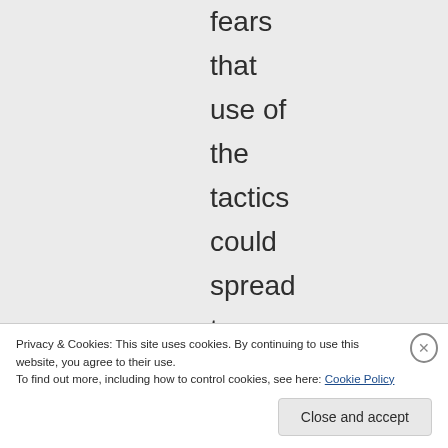fears that use of the tactics could spread to Moscow and other
Privacy & Cookies: This site uses cookies. By continuing to use this website, you agree to their use.
To find out more, including how to control cookies, see here: Cookie Policy
Close and accept